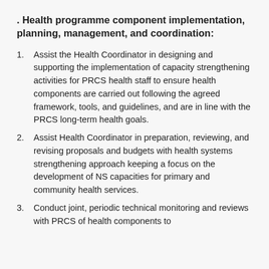. Health programme component implementation, planning, management, and coordination:
Assist the Health Coordinator in designing and supporting the implementation of capacity strengthening activities for PRCS health staff to ensure health components are carried out following the agreed framework, tools, and guidelines, and are in line with the PRCS long-term health goals.
Assist Health Coordinator in preparation, reviewing, and revising proposals and budgets with health systems strengthening approach keeping a focus on the development of NS capacities for primary and community health services.
Conduct joint, periodic technical monitoring and reviews with PRCS of health components to